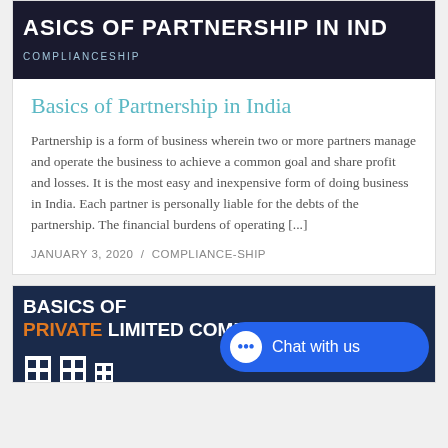[Figure (illustration): Dark banner image with text 'BASICS OF PARTNERSHIP IN INDIA' and 'COMPLIANCESHIP' subtitle on dark background]
Basics of Partnership in India
Partnership is a form of business wherein two or more partners manage and operate the business to achieve a common goal and share profit and losses. It is the most easy and inexpensive form of doing business in India. Each partner is personally liable for the debts of the partnership. The financial burdens of operating [...]
JANUARY 3, 2020  /  COMPLIANCE-SHIP
[Figure (illustration): Dark navy banner with 'BASICS OF PRIVATE LIMITED COMPANY' text, with 'PRIVATE' in orange, and building icons at bottom. Chat with us button overlay on bottom right.]